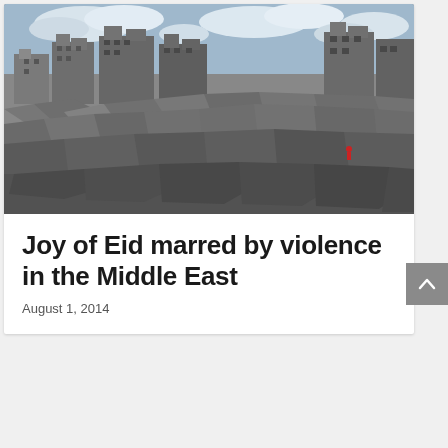[Figure (photo): Aerial view of a heavily destroyed urban area with rubble and collapsed buildings under a partly cloudy sky. A few figures visible in the debris.]
Joy of Eid marred by violence in the Middle East
August 1, 2014